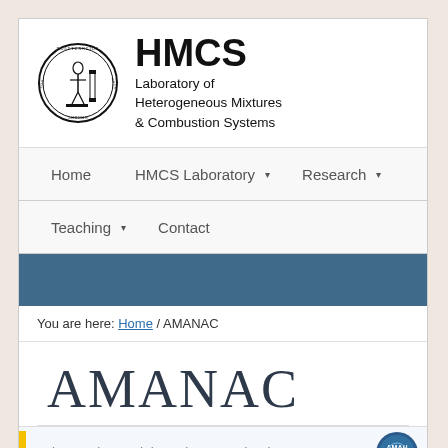[Figure (logo): HMCS Laboratory logo: circular seal with Greek text and figure, next to HMCS heading and subtitle 'Laboratory of Heterogeneous Mixtures & Combustion Systems']
HMCS Laboratory of Heterogeneous Mixtures & Combustion Systems
Home   HMCS Laboratory ▾   Research ▾
Teaching ▾   Contact
You are here: Home / AMANAC
AMANAC
Advanced Materials and Nanotechnology